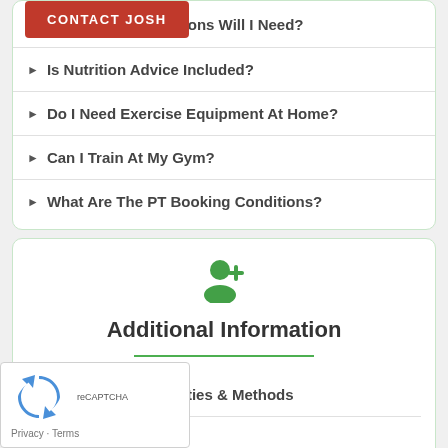How Many PT Sessions Will I Need?
Is Nutrition Advice Included?
Do I Need Exercise Equipment At Home?
Can I Train At My Gym?
What Are The PT Booking Conditions?
Additional Information
My Training Specialties & Methods
Training Kit I Use